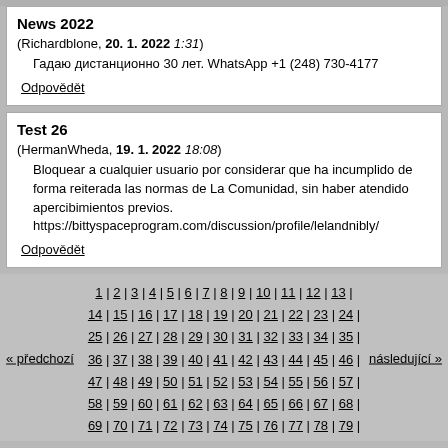News 2022
(Richardblone, 20. 1. 2022 1:31)
  Гадаю дистанционно 30 лет. WhatsApp +1 (248) 730-4177
Odpovědět
Test 26
(HermanWheda, 19. 1. 2022 18:08)
  Bloquear a cualquier usuario por considerar que ha incumplido de forma reiterada las normas de La Comunidad, sin haber atendido apercibimientos previos.
  https://bittyspaceprogram.com/discussion/profile/lelandnibly/
Odpovědět
« předchozí  1 | 2 | 3 | 4 | 5 | 6 | 7 | 8 | 9 | 10 | 11 | 12 | 13 | 14 | 15 | 16 | 17 | 18 | 19 | 20 | 21 | 22 | 23 | 24 | 25 | 26 | 27 | 28 | 29 | 30 | 31 | 32 | 33 | 34 | 35 | 36 | 37 | 38 | 39 | 40 | 41 | 42 | 43 | 44 | 45 | 46 | 47 | 48 | 49 | 50 | 51 | 52 | 53 | 54 | 55 | 56 | 57 | 58 | 59 | 60 | 61 | 62 | 63 | 64 | 65 | 66 | 67 | 68 | 69 | 70 | 71 | 72 | 73 | 74 | 75 | 76 | 77 | 78 | 79  následující »